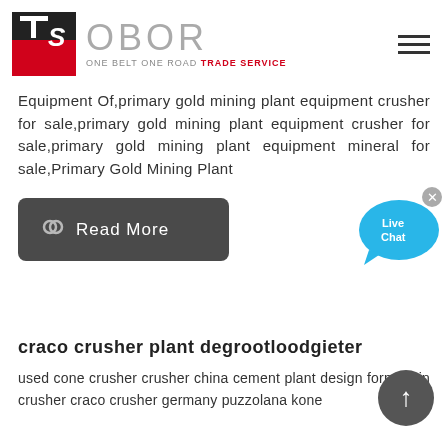[Figure (logo): OBOR Trade Service logo with TS icon in red and black, and text 'OBOR ONE BELT ONE ROAD TRADE SERVICE']
Equipment Of,primary gold mining plant equipment crusher for sale,primary gold mining plant equipment crusher for sale,primary gold mining plant equipment mineral for sale,Primary Gold Mining Plant
[Figure (other): Read More button with link icon]
[Figure (other): Live Chat bubble widget]
craco crusher plant degrootloodgieter
used cone crusher crusher china cement plant design formals in crusher craco crusher germany puzzolana kone
[Figure (other): Scroll to top FAB button]